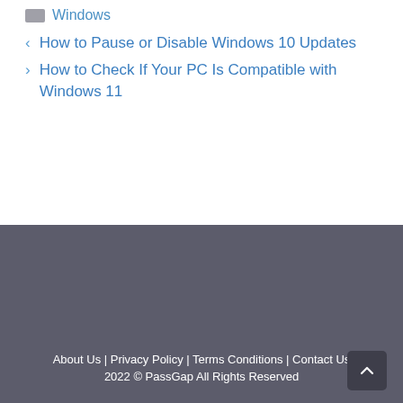Windows
< How to Pause or Disable Windows 10 Updates
> How to Check If Your PC Is Compatible with Windows 11
About Us | Privacy Policy | Terms Conditions | Contact Us
2022 © PassGap All Rights Reserved